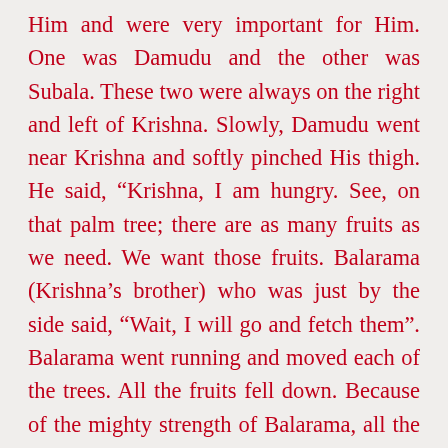Him and were very important for Him. One was Damudu and the other was Subala. These two were always on the right and left of Krishna. Slowly, Damudu went near Krishna and softly pinched His thigh. He said, “Krishna, I am hungry. See, on that palm tree; there are as many fruits as we need. We want those fruits. Balarama (Krishna’s brother) who was just by the side said, “Wait, I will go and fetch them”. Balarama went running and moved each of the trees. All the fruits fell down. Because of the mighty strength of Balarama, all the trees became fruitless. Who is the one, who named Balarama? It was Garga. What did Garga say? He said, “This child is very strong. His glow is very attractive. Since he is attractive and strong, you may keep his name as Balarama”. Balarama thus shook the trees. At that time, a big donkey (a